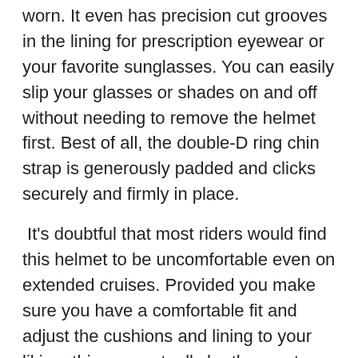worn. It even has precision cut grooves in the lining for prescription eyewear or your favorite sunglasses. You can easily slip your glasses or shades on and off without needing to remove the helmet first. Best of all, the double-D ring chin strap is generously padded and clicks securely and firmly in place.
It's doubtful that most riders would find this helmet to be uncomfortable even on extended cruises. Provided you make sure you have a comfortable fit and adjust the cushions and lining to your liking, this may actually be the most comfortable helmet you've ever put on, too.
Things I liked
High performance hybrid polycarbonate